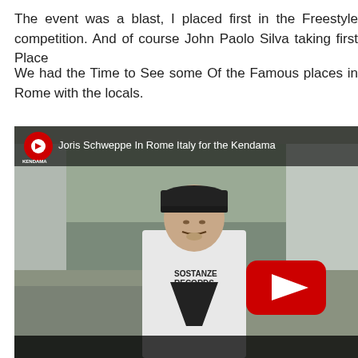The event was a blast, I placed first in the Freestyle competition. And of course John Paolo Silva taking first Place
We had the Time to See some Of the Famous places in Rome with the locals.
[Figure (screenshot): YouTube video thumbnail showing a man wearing a 'SOSTANZE RECORDS' t-shirt standing outdoors in Rome. The video title reads 'Joris Schweppe In Rome Italy for the Kendama' with a YouTube channel icon (red circle with white play button labeled KENDAMA) on the left. A large red YouTube play button is overlaid in the center-right of the video frame. The bottom of the frame is cut off.]